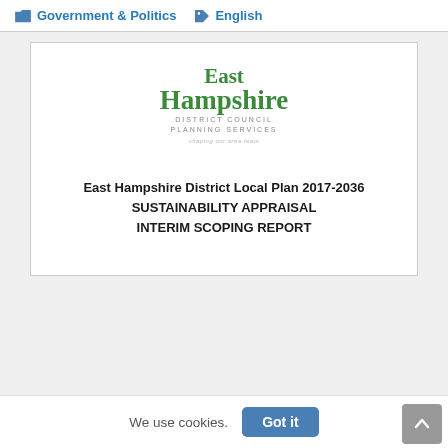Government & Politics   English
[Figure (logo): East Hampshire District Council Planning Services logo with green text and tagline]
East Hampshire District Local Plan 2017-2036
SUSTAINABILITY APPRAISAL
INTERIM SCOPING REPORT
We use cookies.